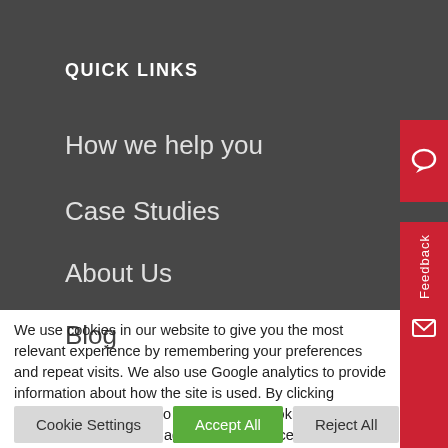QUICK LINKS
How we help you
Case Studies
About Us
Blog
We use cookies in our website to give you the most relevant experience by remembering your preferences and repeat visits. We also use Google analytics to provide information about how the site is used. By clicking “Accept”, you consent to the use of all cookies. Visit Cookie Settings to manage your preferences . Read More
Cookie Settings
Accept All
Reject All